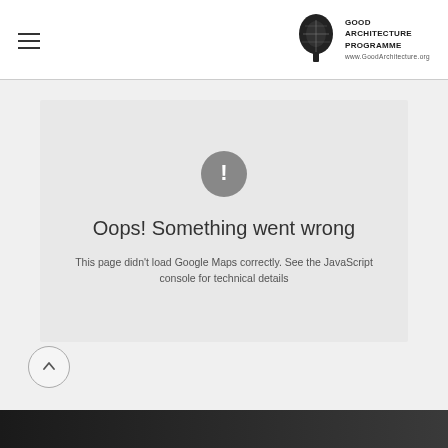GOOD ARCHITECTURE PROGRAMME www.GoodArchitecture.org
[Figure (screenshot): Error message box with grey circle exclamation icon, heading 'Oops! Something went wrong' and subtext 'This page didn't load Google Maps correctly. See the JavaScript console for technical details']
Oops! Something went wrong
This page didn't load Google Maps correctly. See the JavaScript console for technical details